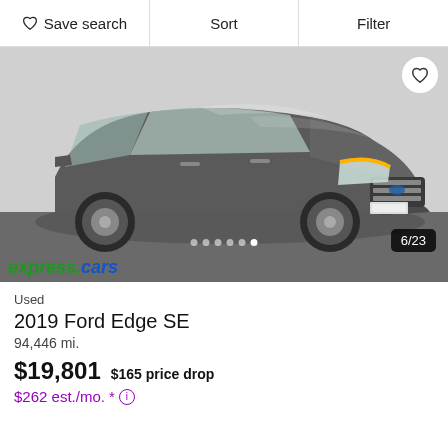Save search  Sort  Filter
[Figure (photo): Gray 2019 Ford Edge SE SUV photographed from 3/4 front angle in a dealership setting, with dealer watermark 'express cars' in green and blue at bottom left, photo counter badge '6/23' at bottom right, dots pagination indicator, and a heart favorite button at top right.]
Used
2019 Ford Edge SE
94,446 mi.
$19,801  $165 price drop
$262 est./mo. *